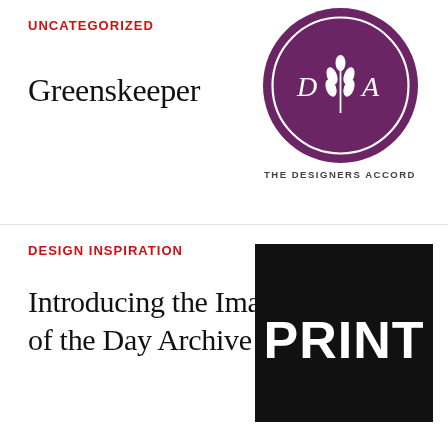UNCATEGORIZED
Greenskeeper
[Figure (logo): The Designers Accord logo: a dark purple circle with a double-ring border, letters D and A flanking a wheat/plant icon in white, with text 'THE DESIGNERS ACCORD' below in spaced caps]
DESIGN INSPIRATION
Introducing the Image of the Day Archive
[Figure (logo): PRINT logo: bold white text 'PRINT' on a solid black square background]